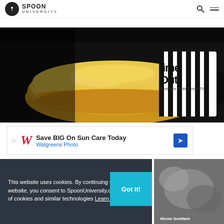SPOON UNIVERSITY
[Figure (photo): A close-up photo of a bitten egg and cheese sandwich/biscuit on a dark background, with a black and white striped 'Time Out' cup visible in the background]
[Figure (infographic): Advertisement banner: Save BIG On Sun Care Today - Walgreens Photo, with Walgreens W logo and blue directional arrow icon]
This website uses cookies. By continuing to use this website, you consent to SpoonUniversity.com's usage of cookies and similar technologies Learn more
Got it!
[Figure (photo): Small thumbnail photo, partially visible, with 'Nicole Goldfarb' text overlay]